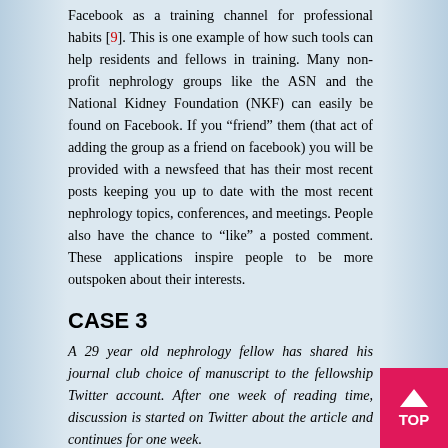Facebook as a training channel for professional habits [9]. This is one example of how such tools can help residents and fellows in training. Many non-profit nephrology groups like the ASN and the National Kidney Foundation (NKF) can easily be found on Facebook. If you “friend” them (that act of adding the group as a friend on facebook) you will be provided with a newsfeed that has their most recent posts keeping you up to date with the most recent nephrology topics, conferences, and meetings. People also have the chance to “like” a posted comment. These applications inspire people to be more outspoken about their interests.
CASE 3
A 29 year old nephrology fellow has shared his journal club choice of manuscript to the fellowship Twitter account. After one week of reading time, discussion is started on Twitter about the article and continues for one week.